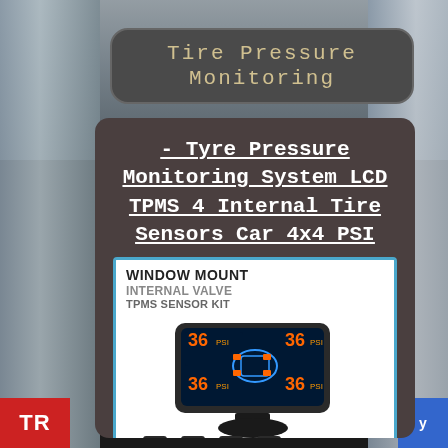Tire Pressure Monitoring
- Tyre Pressure Monitoring System LCD TPMS 4 Internal Tire Sensors Car 4x4 PSI
[Figure (photo): Product image showing WINDOW MOUNT INTERNAL VALVE TPMS SENSOR KIT with LCD display unit showing 36 PSI readings for 4 tires and 4 internal valve sensors below]
WINDOW MOUNT
INTERNAL VALVE
TPMS SENSOR KIT